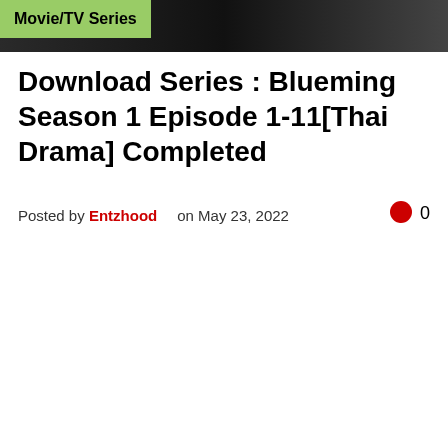Movie/TV Series
Download Series : Blueming Season 1 Episode 1-11[Thai Drama] Completed
Posted by Entzhood   on May 23, 2022   0